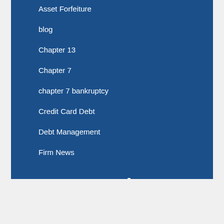Asset Forfeiture
blog
Chapter 13
Chapter 7
chapter 7 bankruptcy
Credit Card Debt
Debt Management
Firm News
RSS Feed
Subscribe To This Blog's Feed